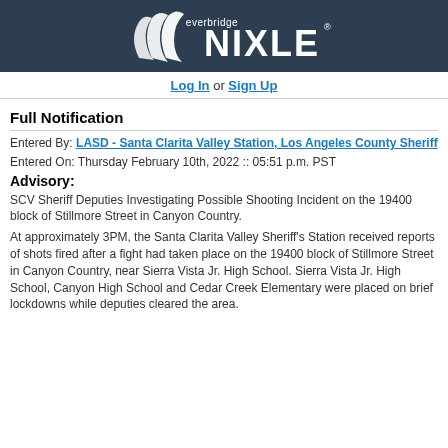[Figure (logo): Everbridge NIXLE logo — white wave/mountain symbol and NIXLE text on dark navy background with 'everbridge' text above]
Log In or Sign Up
Full Notification
Entered By: LASD - Santa Clarita Valley Station, Los Angeles County Sheriff
Entered On: Thursday February 10th, 2022 :: 05:51 p.m. PST
Advisory:
SCV Sheriff Deputies Investigating Possible Shooting Incident on the 19400 block of Stillmore Street in Canyon Country.
At approximately 3PM, the Santa Clarita Valley Sheriff's Station received reports of shots fired after a fight had taken place on the 19400 block of Stillmore Street in Canyon Country, near Sierra Vista Jr. High School. Sierra Vista Jr. High School, Canyon High School and Cedar Creek Elementary were placed on brief lockdowns while deputies cleared the area.